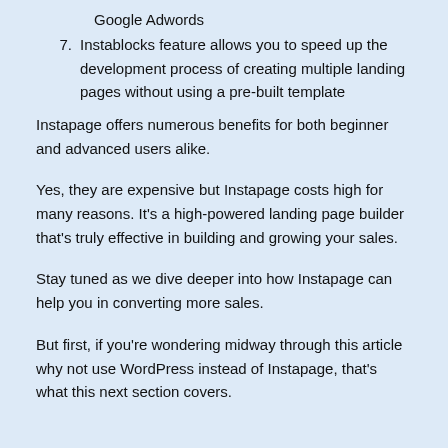Google Adwords
7. Instablocks feature allows you to speed up the development process of creating multiple landing pages without using a pre-built template
Instapage offers numerous benefits for both beginner and advanced users alike.
Yes, they are expensive but Instapage costs high for many reasons. It’s a high-powered landing page builder that’s truly effective in building and growing your sales.
Stay tuned as we dive deeper into how Instapage can help you in converting more sales.
But first, if you’re wondering midway through this article why not use WordPress instead of Instapage, that’s what this next section covers.